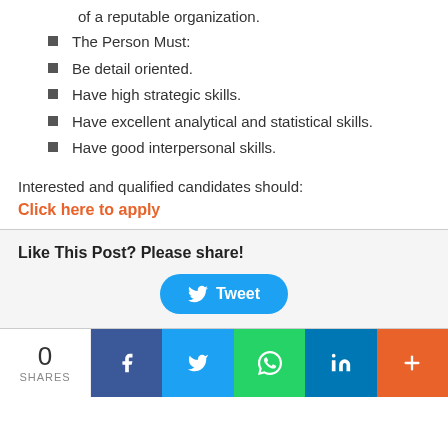of a reputable organization.
The Person Must:
Be detail oriented.
Have high strategic skills.
Have excellent analytical and statistical skills.
Have good interpersonal skills.
Interested and qualified candidates should:
Click here to apply
Like This Post? Please share!
[Figure (other): Tweet button]
0 SHARES
[Figure (other): Social share bar with Facebook, Twitter, WhatsApp, LinkedIn, and more buttons]